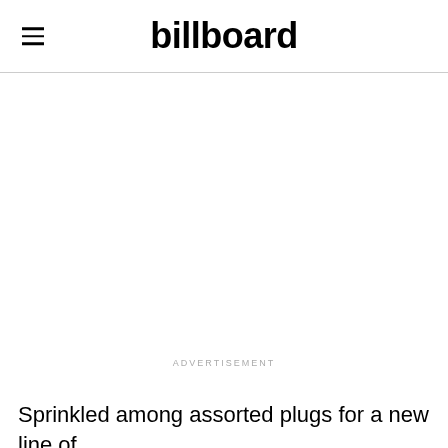billboard
ADVERTISEMENT
Sprinkled among assorted plugs for a new line of